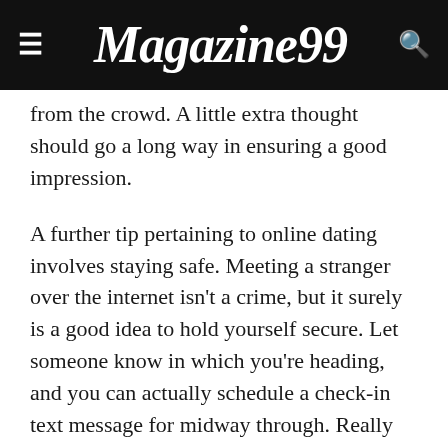Magazine99
from the crowd. A little extra thought should go a long way in ensuring a good impression.
A further tip pertaining to online dating involves staying safe. Meeting a stranger over the internet isn't a crime, but it surely is a good idea to hold yourself secure. Let someone know in which you're heading, and you can actually schedule a check-in text message for midway through. Really not uncommon to get lost inside the virtual environment, so take precautions to ensure that you will absolutely safe and sound. For instance , always ask your good friend to go with you – regardless if it's just for a few